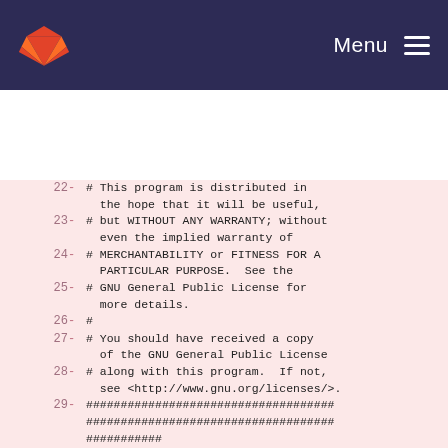GitLab — Menu
22  - # This program is distributed in the hope that it will be useful,
23  - # but WITHOUT ANY WARRANTY; without even the implied warranty of
24  - # MERCHANTABILITY or FITNESS FOR A PARTICULAR PURPOSE.  See the
25  - # GNU General Public License for more details.
26  - #
27  - # You should have received a copy of the GNU General Public License
28  - # along with this program.  If not, see <http://www.gnu.org/licenses/>.
29  - ###########################################################################
30  -
31  - FROM rwthacs/dpsim-no-villas-dev:latest
32  -